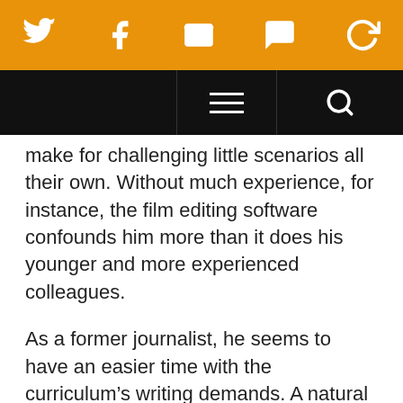[Social sharing bar with Twitter, Facebook, Email, SMS, and share icons]
[Navigation bar with hamburger menu and search icon]
make for challenging little scenarios all their own. Without much experience, for instance, the film editing software confounds him more than it does his younger and more experienced colleagues.
As a former journalist, he seems to have an easier time with the curriculum’s writing demands. A natural storyteller, Boman ends up with uncommon success in the program, but not without a lot of stumbling along the way.